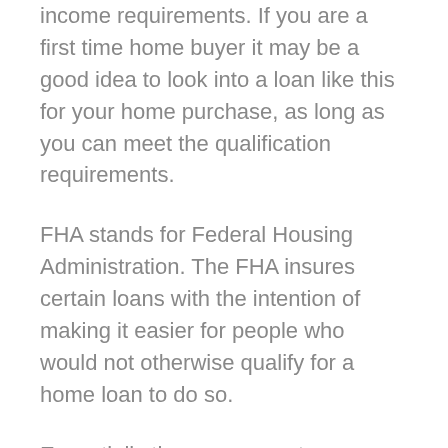income requirements. If you are a first time home buyer it may be a good idea to look into a loan like this for your home purchase, as long as you can meet the qualification requirements.
FHA stands for Federal Housing Administration. The FHA insures certain loans with the intention of making it easier for people who would not otherwise qualify for a home loan to do so.
Essentially the government guarantees lenders that they will be repaid for the loan even if you fail to do so. This makes lending...